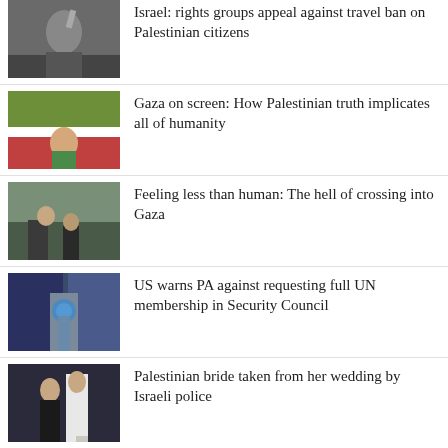Israel: rights groups appeal against travel ban on Palestinian citizens
Gaza on screen: How Palestinian truth implicates all of humanity
Feeling less than human: The hell of crossing into Gaza
US warns PA against requesting full UN membership in Security Council
Palestinian bride taken from her wedding by Israeli police